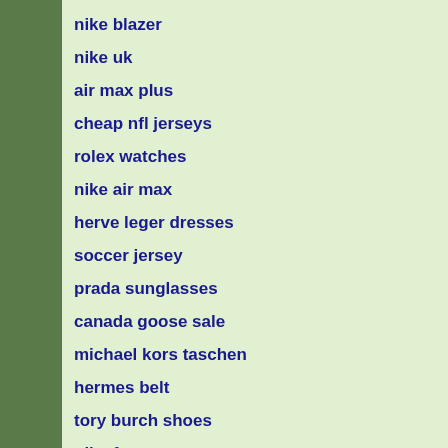nike blazer
nike uk
air max plus
cheap nfl jerseys
rolex watches
nike air max
herve leger dresses
soccer jersey
prada sunglasses
canada goose sale
michael kors taschen
hermes belt
tory burch shoes
nike free
jordans
nike running shoes